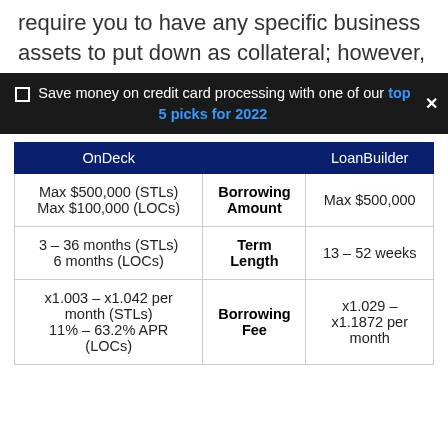require you to have any specific business assets to put down as collateral; however,
☐ Save money on credit card processing with one of our top 5 picks for 2022 ×
| OnDeck |  | LoanBuilder |
| --- | --- | --- |
| Max $500,000 (STLs)
Max $100,000 (LOCs) | Borrowing Amount | Max $500,000 |
| 3 – 36 months (STLs)
6 months (LOCs) | Term Length | 13 – 52 weeks |
| x1.003 – x1.042 per month (STLs)
11% – 63.2% APR (LOCs) | Borrowing Fee | x1.029 –
x1.1872 per month |